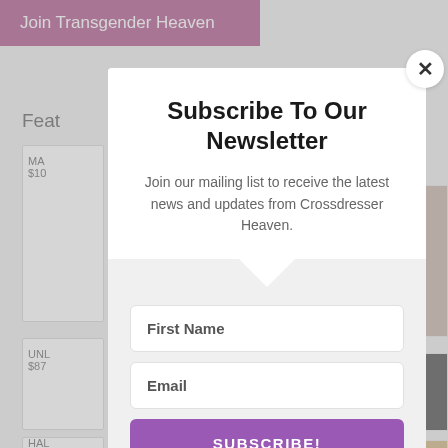Join Transgender Heaven
Feat
Subscribe To Our Newsletter
Join our mailing list to receive the latest news and updates from Crossdresser Heaven.
First Name
Email
SUBSCRIBE!
We hate spam too, unsubscribe at any time.